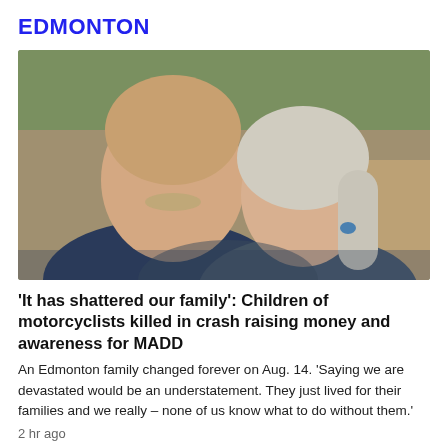EDMONTON
[Figure (photo): A smiling middle-aged couple — a bald man with a moustache wearing a dark navy shirt on the left, and a woman with long grey-blonde hair on the right — posing together outdoors with green trees and a wooden fence visible in the background.]
'It has shattered our family': Children of motorcyclists killed in crash raising money and awareness for MADD
An Edmonton family changed forever on Aug. 14. 'Saying we are devastated would be an understatement. They just lived for their families and we really – none of us know what to do without them.'
2 hr ago